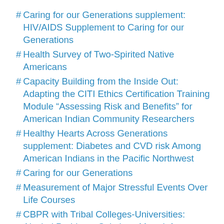# Caring for our Generations supplement: HIV/AIDS Supplement to Caring for our Generations
# Health Survey of Two-Spirited Native Americans
# Capacity Building from the Inside Out: Adapting the CITI Ethics Certification Training Module “Assessing Risk and Benefits” for American Indian Community Researchers
# Healthy Hearts Across Generations supplement: Diabetes and CVD risk Among American Indians in the Pacific Northwest
# Caring for our Generations
# Measurement of Major Stressful Events Over Life Courses
# CBPR with Tribal Colleges-Universities: Alcohol Problems-Solutions More Info